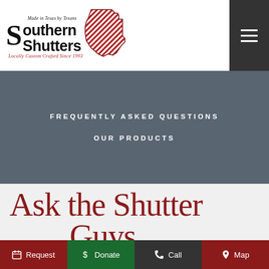[Figure (logo): Southern Shutters logo with Texas state outline, red diagonal stripes, text 'Made in Texas by Texans' and 'Locally Custom Crafted Since 1993']
FREQUENTLY ASKED QUESTIONS
OUR PRODUCTS
Ask the Shutter Guys
Request   Donate   Call   Map